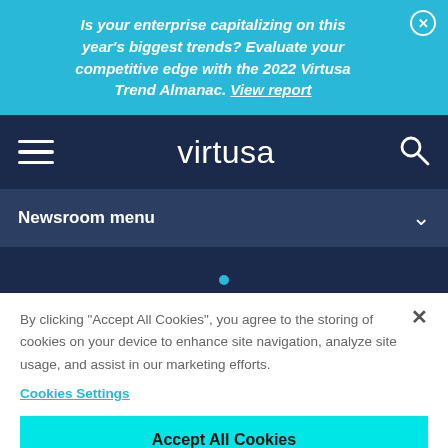Is your enterprise capitalizing on this year’s biggest trends? Evaluate your competitive edge with the 2022 Virtusa Trend Almanac. View report
[Figure (screenshot): Virtusa website navigation bar with hamburger menu, Virtusa logo, and search icon on dark blue background]
Newsroom menu
By clicking “Accept All Cookies”, you agree to the storing of cookies on your device to enhance site navigation, analyze site usage, and assist in our marketing efforts.
Cookies Settings
Accept All Cookies